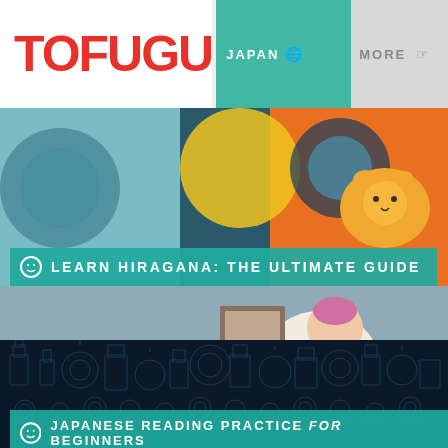TOFUGU | JAPAN | MORE | PODCAST
[Figure (illustration): Illustrated hero image with colorful artwork showing Japanese-style artwork with a cat, circular patterns and abstract shapes in teal, yellow, orange and blue tones]
LEARN HIRAGANA: THE ULTIMATE GUIDE
[Figure (illustration): Illustrated hero image of a person packing a bag/luggage, with anime-style artwork in muted blue, brown and cream tones]
HOW TO PACK for JET
[Figure (illustration): Dark navy blue background with detailed Japanese landmark and icon pattern in blue line art]
JAPANESE READING PRACTICE for BEGINNERS